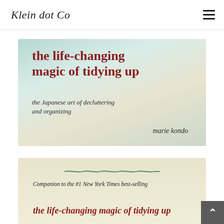Klein dot Co
[Figure (photo): Book cover of 'the life-changing magic of tidying up: the Japanese art of decluttering and organizing' by marie kondo. Muted teal and cream watercolor background with dark red title text and dark gray subtitle and author text.]
[Figure (photo): Partial view of a second book cover on cream/beige background with a green wavy line, text reading 'Companion to the #1 New York Times best-selling the life-changing magic of tidying up' in dark red italic font.]